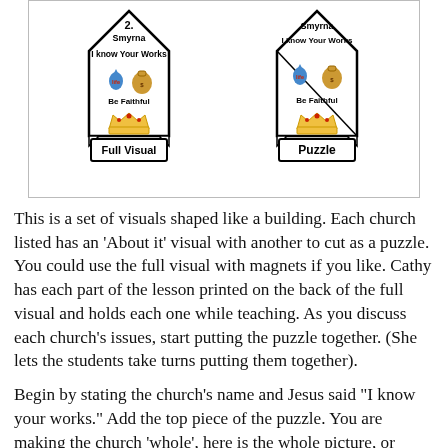[Figure (illustration): Two house/building-shaped visuals for the church of Smyrna. Left one labeled 'Full Visual' shows '2. Smyrna', 'I know Your Works', a water drop and money bag, 'Be Faithful', and a gold crown. Right one labeled 'Puzzle' shows the same content in puzzle-cut form.]
This is a set of visuals shaped like a building. Each church listed has an 'About it' visual with another to cut as a puzzle. You could use the full visual with magnets if you like. Cathy has each part of the lesson printed on the back of the full visual and holds each one while teaching. As you discuss each church's issues, start putting the puzzle together. (She lets the students take turns putting them together).
Begin by stating the church's name and Jesus said "I know your works." Add the top piece of the puzzle. You are making the church 'whole', here is the whole picture, or studying the 'puzzle', whatever phrase you would like